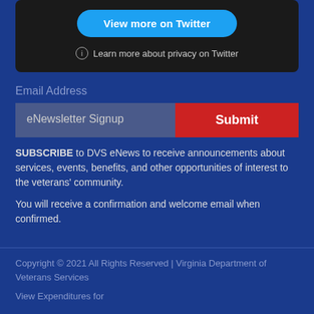[Figure (screenshot): Twitter embed block with 'View more on Twitter' button and 'Learn more about privacy on Twitter' link on dark background]
Email Address
eNewsletter Signup
Submit
SUBSCRIBE to DVS eNews to receive announcements about services, events, benefits, and other opportunities of interest to the veterans' community.
You will receive a confirmation and welcome email when confirmed.
Copyright © 2021 All Rights Reserved | Virginia Department of Veterans Services
View Expenditures for